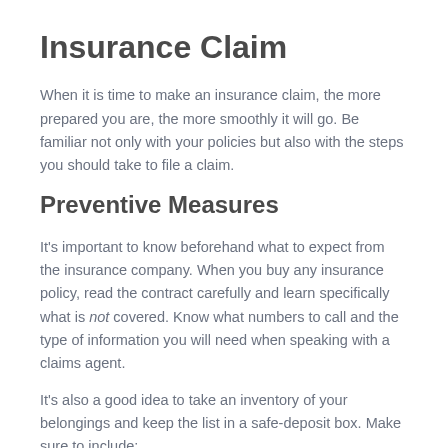Insurance Claim
When it is time to make an insurance claim, the more prepared you are, the more smoothly it will go. Be familiar not only with your policies but also with the steps you should take to file a claim.
Preventive Measures
It's important to know beforehand what to expect from the insurance company. When you buy any insurance policy, read the contract carefully and learn specifically what is not covered. Know what numbers to call and the type of information you will need when speaking with a claims agent.
It's also a good idea to take an inventory of your belongings and keep the list in a safe-deposit box. Make sure to include: